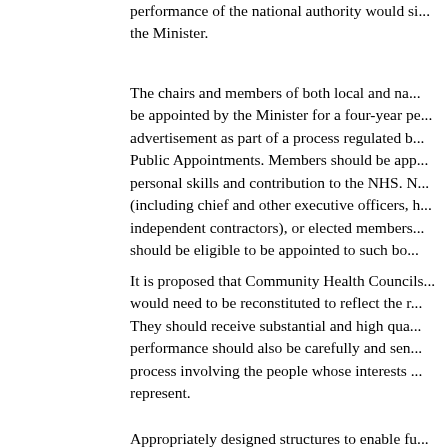performance of the national authority would si... the Minister.
The chairs and members of both local and na... be appointed by the Minister for a four-year pe... advertisement as part of a process regulated b... Public Appointments. Members should be app... personal skills and contribution to the NHS. N... (including chief and other executive officers, h... independent contractors), or elected members... should be eligible to be appointed to such bo...
It is proposed that Community Health Councils... would need to be reconstituted to reflect the r... They should receive substantial and high qua... performance should also be carefully and sen... process involving the people whose interests... represent.
Appropriately designed structures to enable fu...